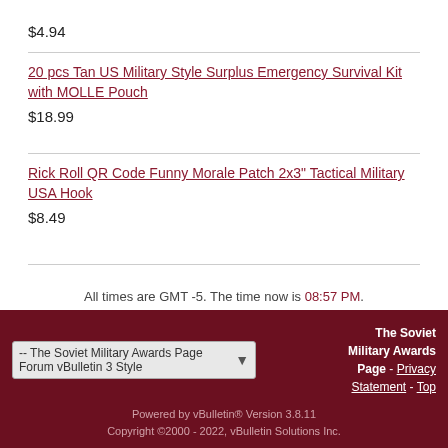$4.94
20 pcs Tan US Military Style Surplus Emergency Survival Kit with MOLLE Pouch
$18.99
Rick Roll QR Code Funny Morale Patch 2x3" Tactical Military USA Hook
$8.49
All times are GMT -5. The time now is 08:57 PM.
-- The Soviet Military Awards Page Forum vBulletin 3 Style
The Soviet Military Awards Page - Privacy Statement - Top
Powered by vBulletin® Version 3.8.11
Copyright ©2000 - 2022, vBulletin Solutions Inc.